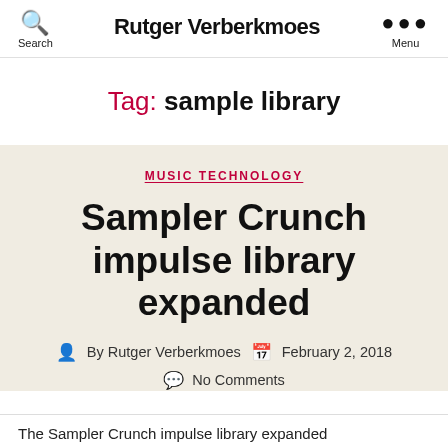Search   Rutger Verberkmoes   Menu
Tag: sample library
MUSIC TECHNOLOGY
Sampler Crunch impulse library expanded
By Rutger Verberkmoes   February 2, 2018   No Comments
The Sampler Crunch impulse library expanded